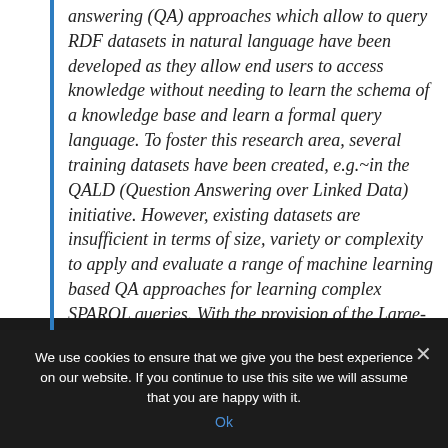answering (QA) approaches which allow to query RDF datasets in natural language have been developed as they allow end users to access knowledge without needing to learn the schema of a knowledge base and learn a formal query language. To foster this research area, several training datasets have been created, e.g.~in the QALD (Question Answering over Linked Data) initiative. However, existing datasets are insufficient in terms of size, variety or complexity to apply and evaluate a range of machine learning based QA approaches for learning complex SPARQL queries. With the provision of the Large-Scale Complex Question
[partially obscured text behind cookie banner]
We use cookies to ensure that we give you the best experience on our website. If you continue to use this site we will assume that you are happy with it.